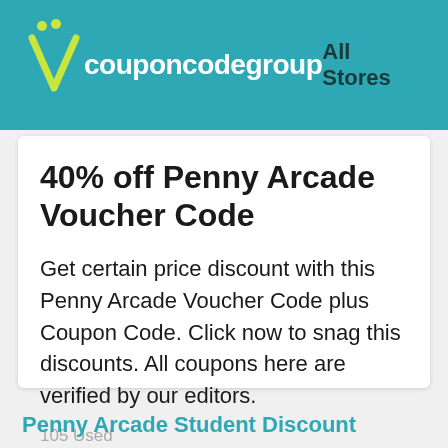couponcodegroup  All Stores
40% off Penny Arcade Voucher Code
Get certain price discount with this Penny Arcade Voucher Code plus Coupon Code. Click now to snag this discounts. All coupons here are verified by our editors.
105 Used
40%Off
Get Deal
Penny Arcade Student Discount